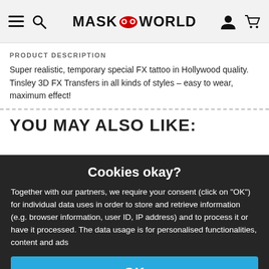MASK WORLD (navigation bar with hamburger, search, logo, user, and cart icons)
PRODUCT DESCRIPTION
Super realistic, temporary special FX tattoo in Hollywood quality. Tinsley 3D FX Transfers in all kinds of styles – easy to wear, maximum effect!
YOU MAY ALSO LIKE:
Cookies okay?
Together with our partners, we require your consent (click on "OK") for individual data uses in order to store and retrieve information (e.g. browser information, user ID, IP address) and to process it or have it processed. The data usage is for personalised functionalities, content and ads
OK